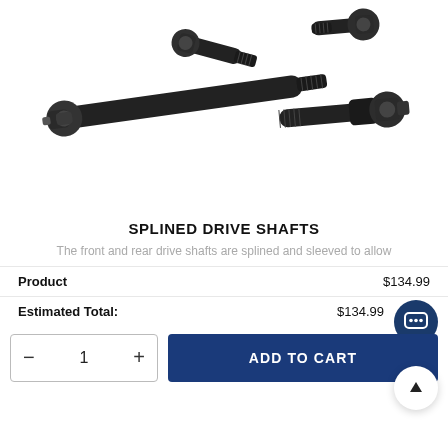[Figure (photo): Four black metal splined drive shaft components arranged on white background — one long shaft with universal joint, and three smaller universal joint connectors with splined ends]
SPLINED DRIVE SHAFTS
The front and rear drive shafts are splined and sleeved to allow
| Product | $134.99 |
| --- | --- |
| Estimated Total: | $134.99 |
| --- | --- |